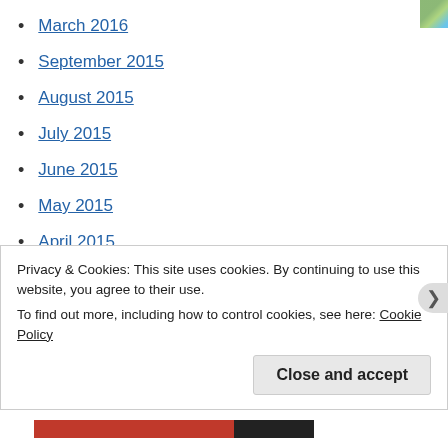March 2016
September 2015
August 2015
July 2015
June 2015
May 2015
April 2015
March 2015
February 2015
January 2015
December 2014
November 2014
Privacy & Cookies: This site uses cookies. By continuing to use this website, you agree to their use. To find out more, including how to control cookies, see here: Cookie Policy